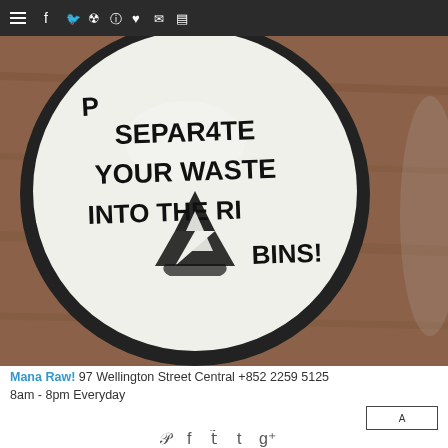Navigation bar with hamburger menu and social icons: f, bird/twitter, pinterest, instagram, heart, mail, rss
[Figure (photo): Close-up photo of a white ceramic plate with black hand-drawn text reading 'SEPARATE YOUR WASTE INTO THE RI[GHT] BINS!' with a recycling symbol drawn in the center, placed on a wooden table surface.]
Mana Raw! 97 Wellington Street Central +852 2259 5125
8am - 8pm Everyday
Social share icons: Pinterest, Facebook, Twitter, Tumblr, Google+